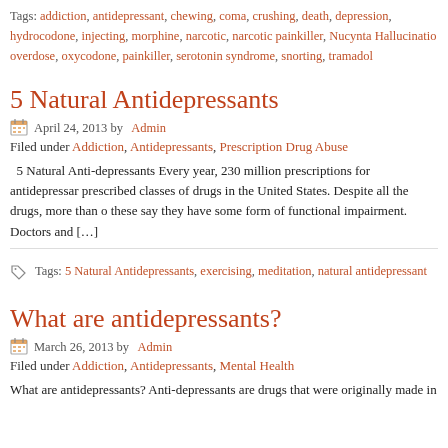Tags: addiction, antidepressant, chewing, coma, crushing, death, depression, hydrocodone, injecting, morphine, narcotic, narcotic painkiller, Nucynta Hallucination, overdose, oxycodone, painkiller, serotonin syndrome, snorting, tramadol
5 Natural Antidepressants
April 24, 2013 by Admin
Filed under Addiction, Antidepressants, Prescription Drug Abuse
5 Natural Anti-depressants Every year, 230 million prescriptions for antidepressants are prescribed classes of drugs in the United States. Despite all the drugs, more than of these say they have some form of functional impairment. Doctors and [...]
Tags: 5 Natural Antidepressants, exercising, meditation, natural antidepressants
What are antidepressants?
March 26, 2013 by Admin
Filed under Addiction, Antidepressants, Mental Health
What are antidepressants? Anti-depressants are drugs that were originally made in